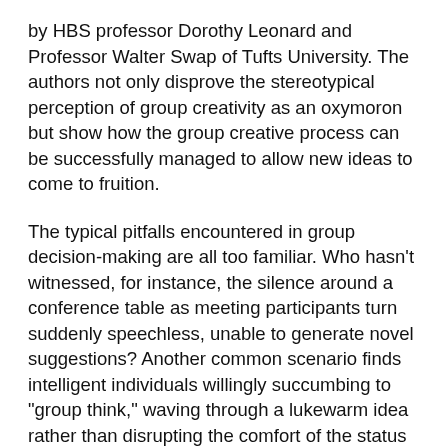by HBS professor Dorothy Leonard and Professor Walter Swap of Tufts University. The authors not only disprove the stereotypical perception of group creativity as an oxymoron but show how the group creative process can be successfully managed to allow new ideas to come to fruition.
The typical pitfalls encountered in group decision-making are all too familiar. Who hasn't witnessed, for instance, the silence around a conference table as meeting participants turn suddenly speechless, unable to generate novel suggestions? Another common scenario finds intelligent individuals willingly succumbing to "group think," waving through a lukewarm idea rather than disrupting the comfort of the status quo.
"Questioning long-held beliefs and traditional ways of doing things is a painful but necessary step if group